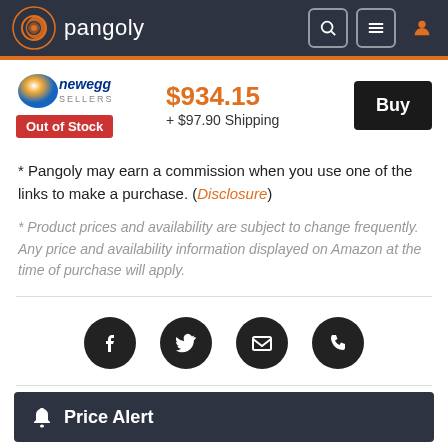pangoly
[Figure (logo): Newegg Sellers logo with text 'newegg SELLERS']
$934.15 + $97.90 Shipping
Out of Stock
Buy
* Pangoly may earn a commission when you use one of the links to make a purchase. (Disclosure)
* Product prices and availability are subject to change frequently. Any price and availability information displayed on Amazon at the time of purchase will apply.
[Figure (infographic): Social sharing icons: Facebook, Twitter, Email, Phone]
Price Alert